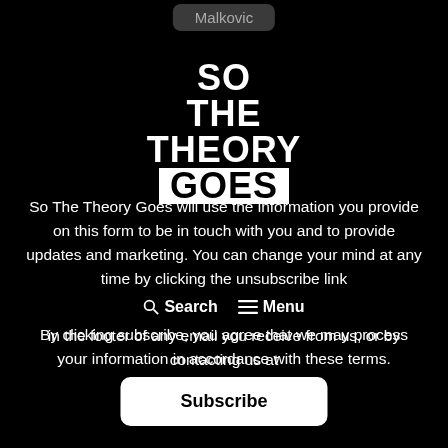Malkovic
[Figure (logo): SO THE THEORY GOES stacked logo in bold white text on black background, with GOES in black on white block]
So The Theory Goes will use the information you provide on this form to be in touch with you and to provide updates and marketing. You can change your mind at any time by clicking the unsubscribe link in the footer of any email you receive from us, or by contacting us at hello@sothetheorygoes.com
By clicking subscribe, you agree that we may process your information in accordance with these terms.
Subscribe